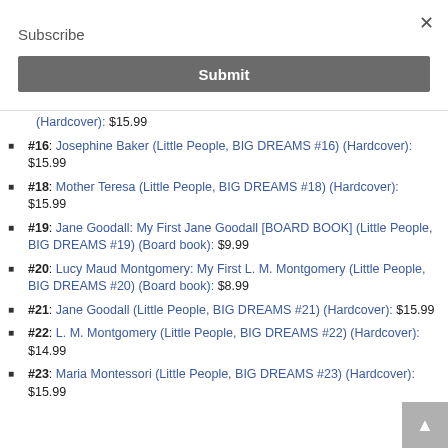Subscribe
Submit
(Hardcover): $15.99
#16: Josephine Baker (Little People, BIG DREAMS #16) (Hardcover): $15.99
#18: Mother Teresa (Little People, BIG DREAMS #18) (Hardcover): $15.99
#19: Jane Goodall: My First Jane Goodall [BOARD BOOK] (Little People, BIG DREAMS #19) (Board book): $9.99
#20: Lucy Maud Montgomery: My First L. M. Montgomery (Little People, BIG DREAMS #20) (Board book): $8.99
#21: Jane Goodall (Little People, BIG DREAMS #21) (Hardcover): $15.99
#22: L. M. Montgomery (Little People, BIG DREAMS #22) (Hardcover): $14.99
#23: Maria Montessori (Little People, BIG DREAMS #23) (Hardcover): $15.99